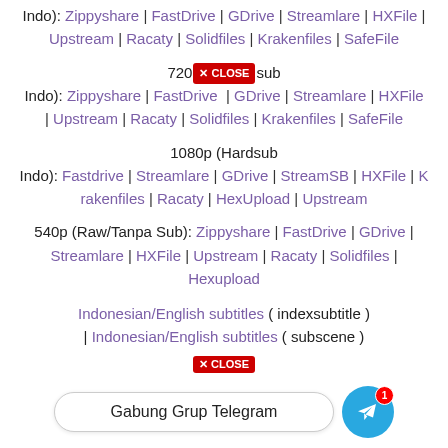Indo): Zippyshare | FastDrive | GDrive | Streamlare | HXFile | Upstream | Racaty | Solidfiles | Krakenfiles | SafeFile
720p [CLOSE button] sub Indo): Zippyshare | FastDrive | GDrive | Streamlare | HXFile | Upstream | Racaty | Solidfiles | Krakenfiles | SafeFile
1080p (Hardsub Indo): Fastdrive | Streamlare | GDrive | StreamSB | HXFile | Krakenfiles | Racaty | HexUpload | Upstream
540p (Raw/Tanpa Sub): Zippyshare | FastDrive | GDrive | Streamlare | HXFile | Upstream | Racaty | Solidfiles | Hexupload
Indonesian/English subtitles ( indexsubtitle ) | Indonesian/English subtitles ( subscene )
Gabung Grup Telegram